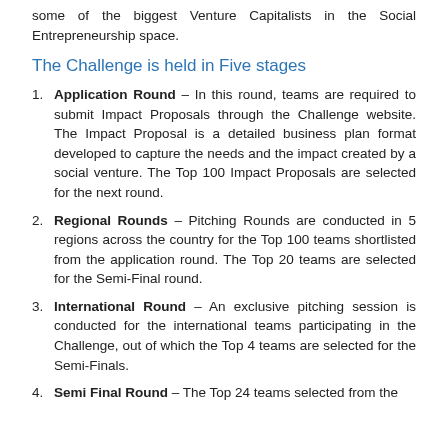some of the biggest Venture Capitalists in the Social Entrepreneurship space.
The Challenge is held in Five stages
Application Round – In this round, teams are required to submit Impact Proposals through the Challenge website. The Impact Proposal is a detailed business plan format developed to capture the needs and the impact created by a social venture. The Top 100 Impact Proposals are selected for the next round.
Regional Rounds – Pitching Rounds are conducted in 5 regions across the country for the Top 100 teams shortlisted from the application round. The Top 20 teams are selected for the Semi-Final round.
International Round – An exclusive pitching session is conducted for the international teams participating in the Challenge, out of which the Top 4 teams are selected for the Semi-Finals.
Semi Final Round – The Top 24 teams selected from the